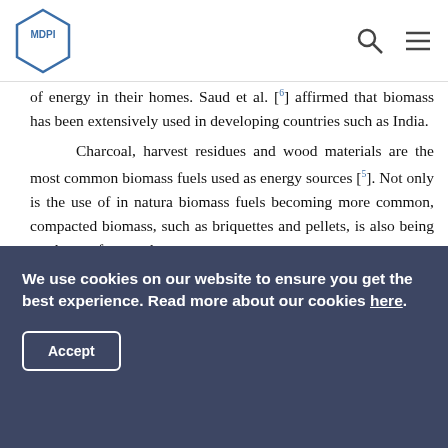MDPI [logo with search and menu icons]
of energy in their homes. Saud et al. [6] affirmed that biomass has been extensively used in developing countries such as India.
Charcoal, harvest residues and wood materials are the most common biomass fuels used as energy sources [5]. Not only is the use of in natura biomass fuels becoming more common, compacted biomass, such as briquettes and pellets, is also being used more frequently.
According to Williams et al. [7], one of the most important advantages attributed to the use of renewable fuels such as biomass is its low cost and widespread distribution. Biomass burning, however, is frequently cited as one of the main
We use cookies on our website to ensure you get the best experience. Read more about our cookies here.
Accept